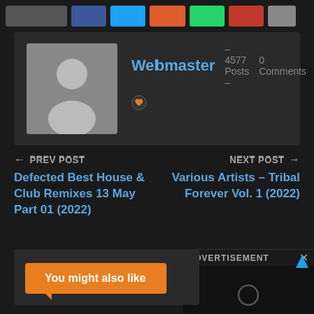Social share buttons bar
Webmaster – 4577 Posts – 0 Comments
PREV POST
Defected Best House & Club Remixes 13 May Part 01 (2022)
NEXT POST
Various Artists – Tribal Forever Vol. 1 (2022)
ADVERTISEMENT
You might also like